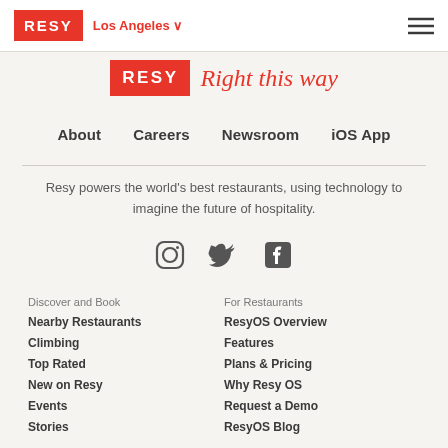RESY  Los Angeles
[Figure (logo): RESY logo in red rectangle with script tagline 'Right this way']
About
Careers
Newsroom
iOS App
Resy powers the world's best restaurants, using technology to imagine the future of hospitality.
[Figure (illustration): Social media icons: Instagram, Twitter, Facebook]
Discover and Book
Nearby Restaurants
Climbing
Top Rated
New on Resy
Events
Stories
For Restaurants
ResyOS Overview
Features
Plans & Pricing
Why Resy OS
Request a Demo
ResyOS Blog